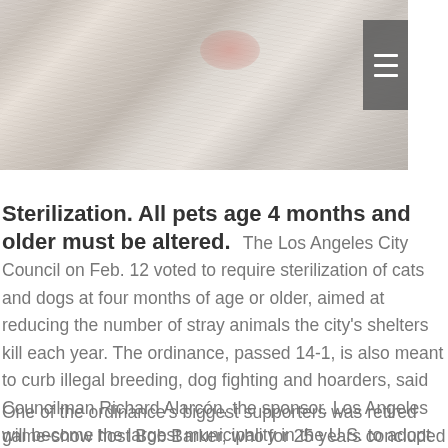[Figure (photo): Close-up photo of a white cat's face showing fur, whiskers, and pink nose]
Sterilization. All pets age 4 months and older must be altered. The Los Angeles City Council on Feb. 12 voted to require sterilization of cats and dogs at four months of age or older, aimed at reducing the number of stray animals the city's shelters kill each year. The ordinance, passed 14-1, is also meant to curb illegal breeding, dog fighting and hoarders, said Councilman Richard Alarcón, the sponsor. Los Angeles will become the largest municipality in the U.S. to adopt such a requirement once Mayor Antonio Villaraigosa signs the measure.
One of the ordinance's biggest supporters was retired game-show host Bob Barker, who for 25 years concluded the